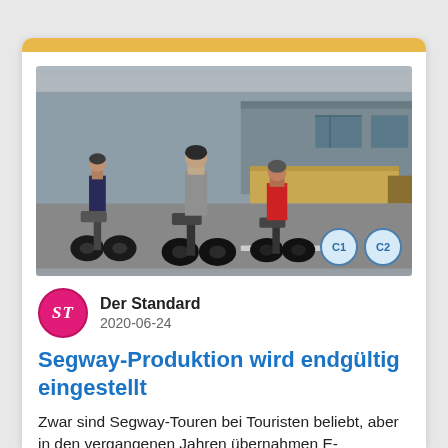[Figure (photo): Three people riding Segways on an urban street near industrial buildings and a truck]
Der Standard
2020-06-24
Segway-Produktion wird endgültig eingestellt
Zwar sind Segway-Touren bei Touristen beliebt, aber in den vergangenen Jahren übernahmen E-